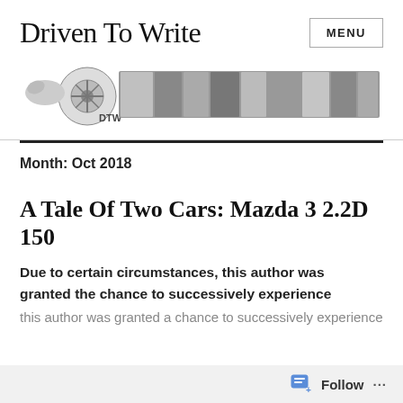Driven To Write
[Figure (logo): DTW Driven To Write banner logo with car wheel and collage of car images in black and white]
Month: Oct 2018
A Tale Of Two Cars: Mazda 3 2.2D 150
Due to certain circumstances, this author was granted the chance to successively experience
Follow